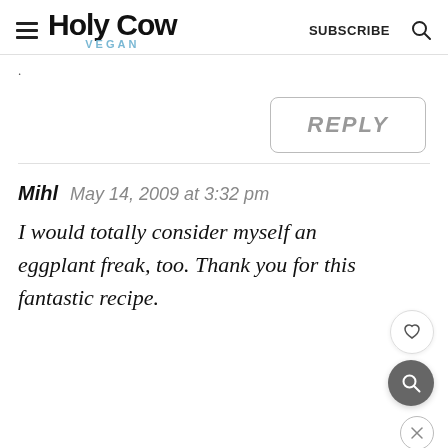Holy Cow Vegan - SUBSCRIBE
.
REPLY
Mihl  May 14, 2009 at 3:32 pm
I would totally consider myself an eggplant freak, too. Thank you for this fantastic recipe.